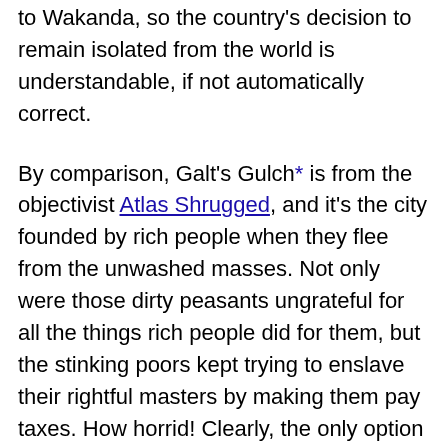to Wakanda, so the country's decision to remain isolated from the world is understandable, if not automatically correct.
By comparison, Galt's Gulch* is from the objectivist Atlas Shrugged, and it's the city founded by rich people when they flee from the unwashed masses. Not only were those dirty peasants ungrateful for all the things rich people did for them, but the stinking poors kept trying to enslave their rightful masters by making them pay taxes. How horrid! Clearly, the only option was for the entire upper class to form their own society.
Whether House of X works for you will largely depend on if you see the mutant nation of Krakoa to